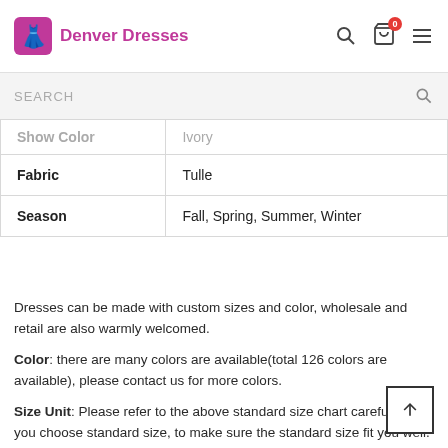Denver Dresses
| Attribute | Value |
| --- | --- |
| Show Color | Ivory |
| Fabric | Tulle |
| Season | Fall, Spring, Summer, Winter |
Dresses can be made with custom sizes and color, wholesale and retail are also warmly welcomed.
Color: there are many colors are available(total 126 colors are available), please contact us for more colors.
Size Unit: Please refer to the above standard size chart carefully if you choose standard size, to make sure the standard size fit you well. Sizes (bust)/(waist)/(hips)/(Hollow to Floor) are very important.If you need do custom size, please provide sizes listed below: